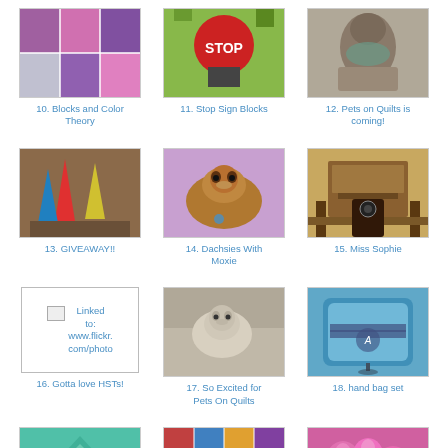[Figure (photo): Quilt blocks in purple and pink tones]
10. Blocks and Color Theory
[Figure (photo): Stop sign quilt block on green background]
11. Stop Sign Blocks
[Figure (photo): Person wearing a scarf or pet on quilt]
12. Pets on Quilts is coming!
[Figure (photo): Colorful cone-shaped stuffed toys/pillows on sofa]
13. GIVEAWAY!!
[Figure (photo): Dachshund dog with purple background]
14. Dachsies With Moxie
[Figure (photo): Vintage sewing machine table]
15. Miss Sophie
[Figure (other): Linked image placeholder referencing www.flickr.com/photo]
16. Gotta love HSTs!
[Figure (photo): Small white/cream dog on patterned background]
17. So Excited for Pets On Quilts
[Figure (photo): Blue tote/handbag with monogram]
18. hand bag set
[Figure (photo): Blue hexagon quilt piece on grass]
[Figure (photo): Colorful patchwork quilt blocks]
[Figure (photo): Pink flowers and a bee]